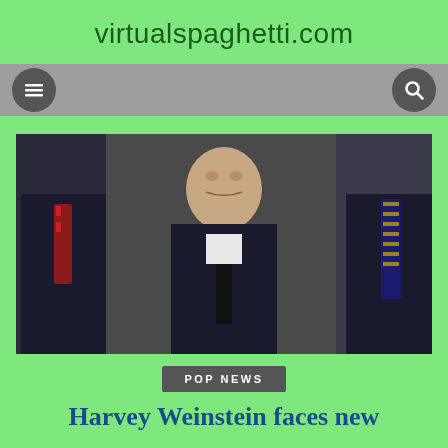virtualspaghetti.com
[Figure (photo): Navigation bar with hamburger menu icon on left and search icon on right, gray background]
[Figure (photo): Photo of Harvey Weinstein in a dark suit surrounded by people in suits]
POP NEWS
Harvey Weinstein faces new